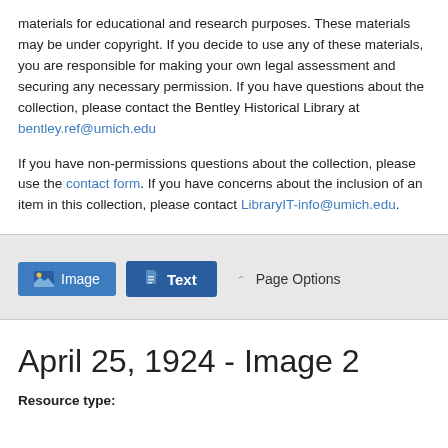materials for educational and research purposes. These materials may be under copyright. If you decide to use any of these materials, you are responsible for making your own legal assessment and securing any necessary permission. If you have questions about the collection, please contact the Bentley Historical Library at bentley.ref@umich.edu
If you have non-permissions questions about the collection, please use the contact form. If you have concerns about the inclusion of an item in this collection, please contact LibraryIT-info@umich.edu.
[Figure (screenshot): Toolbar with Image, Text, and Page Options buttons on a grey background]
April 25, 1924 - Image 2
Resource type: